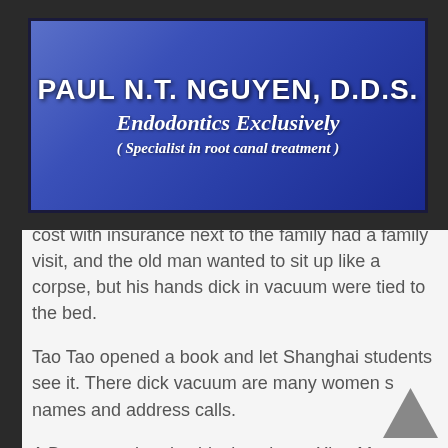[Figure (logo): Blue gradient banner logo for Paul N.T. Nguyen, D.D.S. Endodontics Exclusively, Specialist in root canal treatment]
cost with insurance next to the family had a family visit, and the old man wanted to sit up like a corpse, but his hands dick in vacuum were tied to the bed.
Tao Tao opened a book and let Shanghai students see it. There dick vacuum are many women s names and address calls.
A Bao scared and said, slow down. Xiao Mao said, it doesn Dick In Vacuum t matter, the three elite pro male enhancement sisters have the amount of alcohol, A Bao, Mi Mi